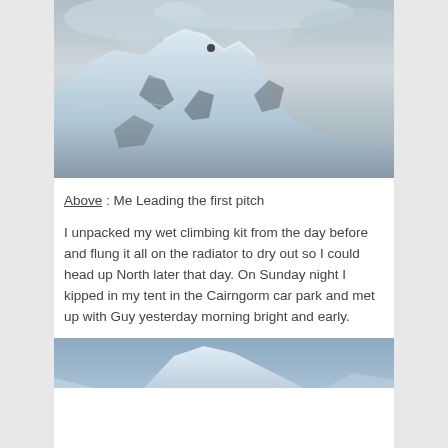[Figure (photo): A climber on a steep snow and rock face beneath dramatic cloudy sky, viewed from below looking up at the mountain ridge.]
Above : Me Leading the first pitch
I unpacked my wet climbing kit from the day before and flung it all on the radiator to dry out so I could head up North later that day. On Sunday night I kipped in my tent in the Cairngorm car park and met up with Guy yesterday morning bright and early.
[Figure (photo): A snowy mountain peak against a blue sky, partially visible at bottom of page.]